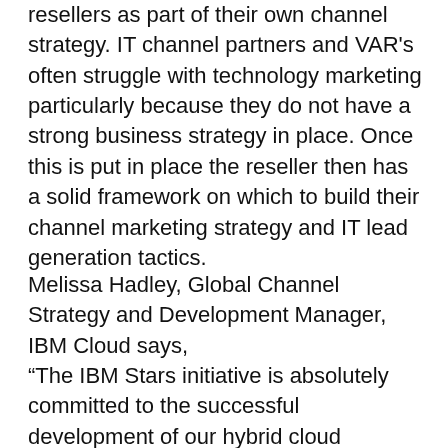resellers as part of their own channel strategy. IT channel partners and VAR's often struggle with technology marketing particularly because they do not have a strong business strategy in place. Once this is put in place the reseller then has a solid framework on which to build their channel marketing strategy and IT lead generation tactics.
Melissa Hadley, Global Channel Strategy and Development Manager, IBM Cloud says, “The IBM Stars initiative is absolutely committed to the successful development of our hybrid cloud partners. This investment in the strategy development for SpecialistsGrid demonstrates our dedication to our Partners long-term success. We now look forward to SpecialistsGrid achieving their